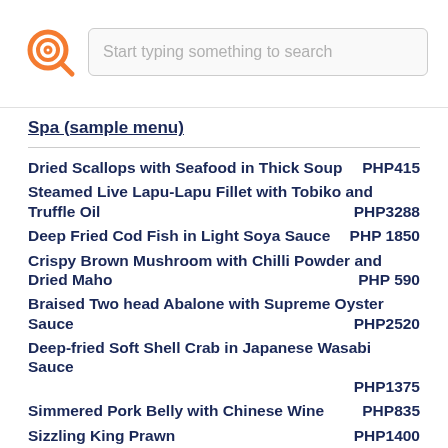Start typing something to search
Spa (sample menu)
Dried Scallops with Seafood in Thick Soup    PHP415
Steamed Live Lapu-Lapu Fillet with Tobiko and Truffle Oil    PHP3288
Deep Fried Cod Fish in Light Soya Sauce    PHP 1850
Crispy Brown Mushroom with Chilli Powder and Dried Maho    PHP 590
Braised Two head Abalone with Supreme Oyster Sauce    PHP2520
Deep-fried Soft Shell Crab in Japanese Wasabi Sauce    PHP1375
Simmered Pork Belly with Chinese Wine    PHP835
Sizzling King Prawn    PHP1400